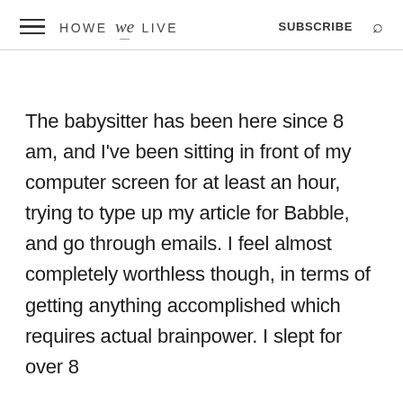HOWE we LIVE  SUBSCRIBE
The babysitter has been here since 8 am, and I've been sitting in front of my computer screen for at least an hour, trying to type up my article for Babble, and go through emails. I feel almost completely worthless though, in terms of getting anything accomplished which requires actual brainpower. I slept for over 8